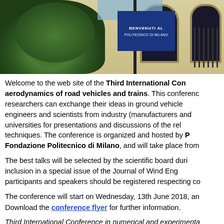[Figure (photo): Photograph of the entrance of Politecnico di Milano building with a blue banner reading 'BENVENUTI AL POLITECNICO DI MILANO', green bushes on the left and a classical building facade on the right]
Welcome to the web site of the Third International Conference on aerodynamics of road vehicles and trains. This conference provides a forum where researchers can exchange their ideas in ground vehicle aerodynamics, bringing together engineers and scientists from industry (manufacturers and suppliers) and from research universities for presentations and discussions of the relevant state of the art and techniques. The conference is organized and hosted by Politecnico di Milano and Fondazione Politecnico di Milano, and will take place from
The best talks will be selected by the scientific board during the conference for inclusion in a special issue of the Journal of Wind Engineering. All conference participants and speakers should be registered respecting co
The conference will start on Wednesday, 13th June 2018, an Download the conference flyer for further information.
Third International Conference in numerical and experimental aerodynamics of road vehicles and trains
Juno 13, 2018 – Juno 15, 2018